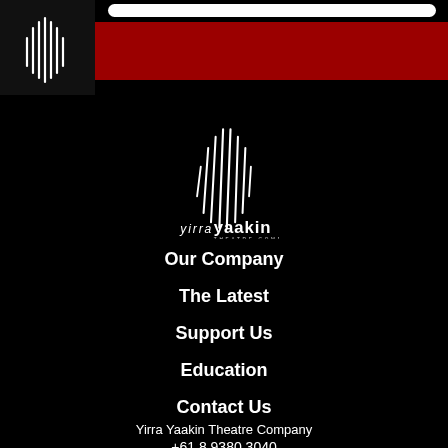Yirra Yaakin Theatre Company website header with logo and red navigation bar
[Figure (logo): Yirra Yaakin Theatre Company logo — abstract vertical wave lines forming an oval shape in white on black background, with text 'yirra yaakin THEATRE COMPANY' below]
Our Company
The Latest
Support Us
Education
Contact Us
Yirra Yaakin Theatre Company
+61 8 9380 3040